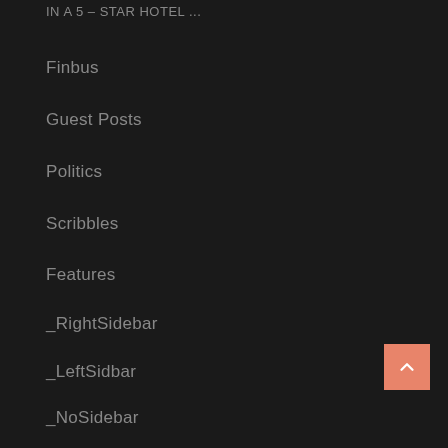IN A 5 – STAR HOTEL ...
Finbus
Guest Posts
Politics
Scribbles
Features
_RightSidebar
_LeftSidbar
_NoSidebar
Books